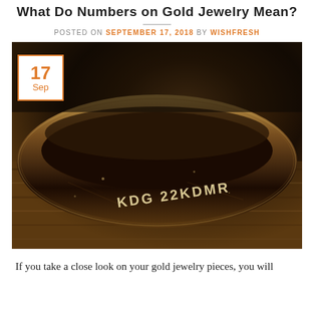What Do Numbers on Gold Jewelry Mean?
POSTED ON SEPTEMBER 17, 2018 BY WISHFRESH
[Figure (photo): Close-up photo of a gold ring on a wooden surface, showing an engraved hallmark 'KDG 22KDMR' on the inner surface of the band. A date badge showing '17 Sep' in orange is overlaid on the top-left of the image.]
If you take a close look on your gold jewelry pieces, you will